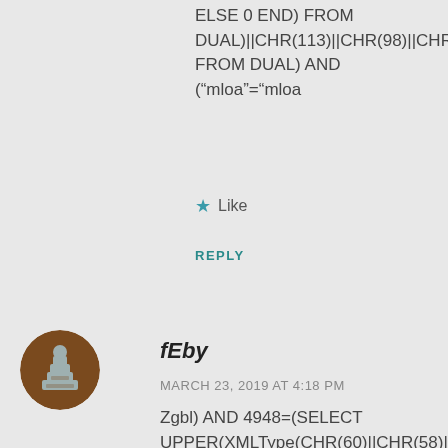ELSE 0 END) FROM DUAL)||CHR(113)||CHR(98)||CHR(122)||CHR(112)| FROM DUAL) AND ("mloa"="mloa
Like
REPLY
[Figure (illustration): User avatar: brown circle with grey chess-piece style icon]
fEby
MARCH 23, 2019 AT 4:18 PM
Zgbl) AND 4948=(SELECT UPPER(XMLType(CHR(60)||CHR(58)||CHR(113)||CH (SELECT (CASE WHEN (4948=4948) THEN 1 ELSE 0 END) FROM DUAL)||CHR(113)||CHR(98)||CHR(122)||CHR(112)